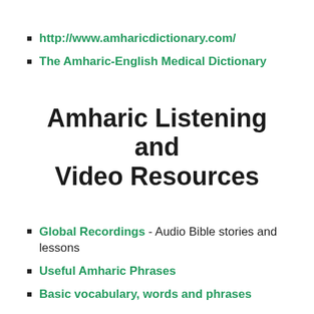http://www.amharicdictionary.com/
The Amharic-English Medical Dictionary
Amharic Listening and Video Resources
Global Recordings - Audio Bible stories and lessons
Useful Amharic Phrases
Basic vocabulary, words and phrases